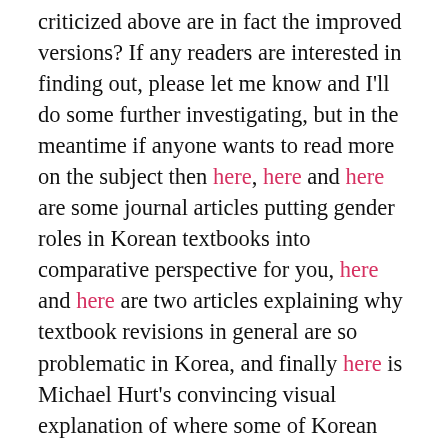criticized above are in fact the improved versions? If any readers are interested in finding out, please let me know and I'll do some further investigating, but in the meantime if anyone wants to read more on the subject then here, here and here are some journal articles putting gender roles in Korean textbooks into comparative perspective for you, here and here are two articles explaining why textbook revisions in general are so problematic in Korea, and finally here is Michael Hurt's convincing visual explanation of where some of Korean children's stereotypes about race come from.